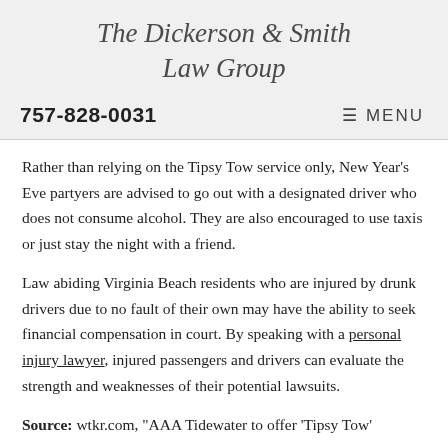The Dickerson & Smith Law Group
757-828-0031   MENU
Rather than relying on the Tipsy Tow service only, New Year's Eve partyers are advised to go out with a designated driver who does not consume alcohol. They are also encouraged to use taxis or just stay the night with a friend.
Law abiding Virginia Beach residents who are injured by drunk drivers due to no fault of their own may have the ability to seek financial compensation in court. By speaking with a personal injury lawyer, injured passengers and drivers can evaluate the strength and weaknesses of their potential lawsuits.
Source: wtkr.com, "AAA Tidewater to offer 'Tipsy Tow'